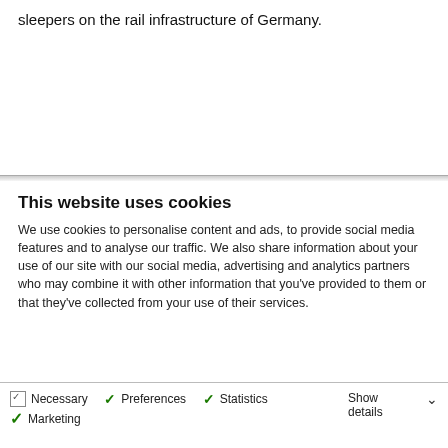sleepers on the rail infrastructure of Germany.
This website uses cookies
We use cookies to personalise content and ads, to provide social media features and to analyse our traffic. We also share information about your use of our site with our social media, advertising and analytics partners who may combine it with other information that you've provided to them or that they've collected from your use of their services.
Allow all cookies
Allow selection
Use necessary cookies only
Necessary   Preferences   Statistics   Marketing   Show details